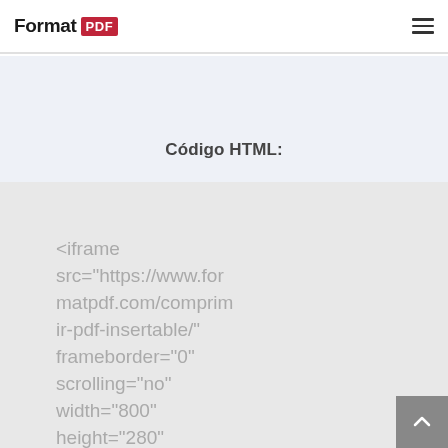Format PDF
Código HTML:
<iframe src="https://www.formatpdf.com/comprim ir-pdf-insertable/" frameborder="0" scrolling="no" width="800" height="280" style="max-width: 100%;"></iframe>